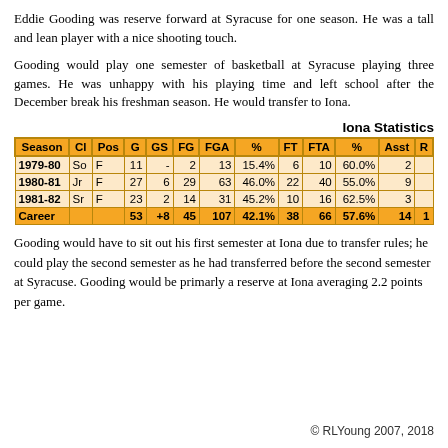Eddie Gooding was reserve forward at Syracuse for one season. He was a tall and lean player with a nice shooting touch.
Gooding would play one semester of basketball at Syracuse playing three games. He was unhappy with his playing time and left school after the December break his freshman season. He would transfer to Iona.
Iona Statistics
| Season | Cl | Pos | G | GS | FG | FGA | % | FT | FTA | % | Asst | R |
| --- | --- | --- | --- | --- | --- | --- | --- | --- | --- | --- | --- | --- |
| 1979-80 | So | F | 11 | - | 2 | 13 | 15.4% | 6 | 10 | 60.0% | 2 |  |
| 1980-81 | Jr | F | 27 | 6 | 29 | 63 | 46.0% | 22 | 40 | 55.0% | 9 |  |
| 1981-82 | Sr | F | 23 | 2 | 14 | 31 | 45.2% | 10 | 16 | 62.5% | 3 |  |
| Career |  |  | 53 | +8 | 45 | 107 | 42.1% | 38 | 66 | 57.6% | 14 | 1 |
Gooding would have to sit out his first semester at Iona due to transfer rules; he could play the second semester as he had transferred before the second semester at Syracuse. Gooding would be primarly a reserve at Iona averaging 2.2 points per game.
© RLYoung 2007, 2018